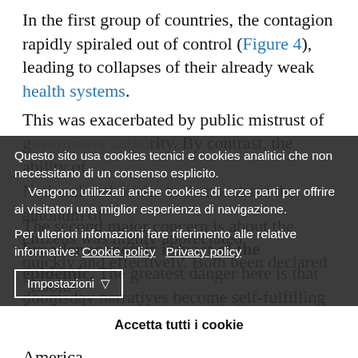In the first group of countries, the contagion rapidly spiraled out of control (Figure 4), leading to collapses of their already weak health systems. This was exacerbated by public mistrust of g... ...bility of N... ...m of c... ...cted quickly and effectively. Both been declared "Ebola-fr... ...t many of countries in Europe and North America v... ...rom the epicenter of the epidemic and even were it not, it counts on an excellent health care system and a trustworthy government.
Questo sito usa cookies tecnici e cookies analitici che non necessitano di un consenso esplicito.
Vengono utilizzati anche cookies di terze parti per offrire ai visitatori una miglior esperienza di navigazione.
Per ulteriori infomazioni fare riferimento alle relative informative: Cookie policy  Privacy policy
[Impostazioni ▽]
[Accetta tutti i cookie]
The second major concern is about the broader economic impact of the epidemic. The greatest danger here is that doomsday narratives become self-fulfilling prophecies.